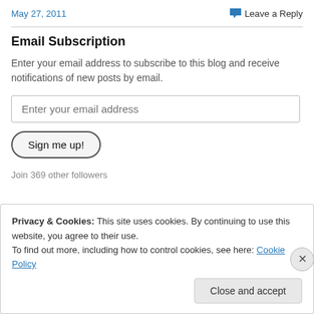May 27, 2011
Leave a Reply
Email Subscription
Enter your email address to subscribe to this blog and receive notifications of new posts by email.
Enter your email address
Sign me up!
Join 369 other followers
Privacy & Cookies: This site uses cookies. By continuing to use this website, you agree to their use.
To find out more, including how to control cookies, see here: Cookie Policy
Close and accept